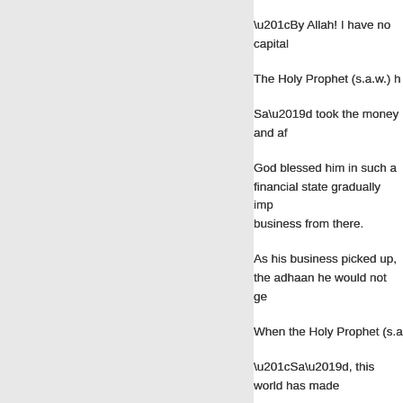“By Allah! I have no capital
The Holy Prophet (s.a.w.) h
Sa’d took the money and af
God blessed him in such a way that his financial state gradually imp business from there.
As his business picked up, the adhaan he would not ge
When the Holy Prophet (s.a
“Sa’d, this world has made y
Sa’d replied, “What can I do to collect the money for the
The Holy Prophet (s.a.w.) w worship. At that moment, Ji
“Allah has said: ‘We posses
The Holy Prophet indicated